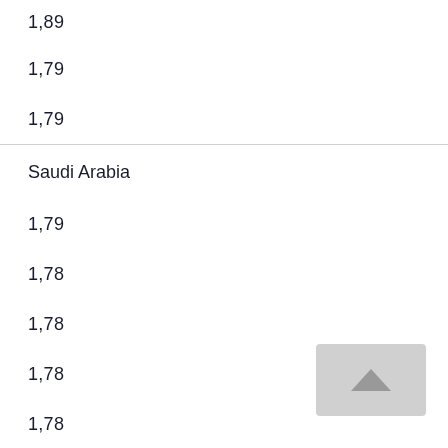1,89
1,79
1,79
Saudi Arabia
1,79
1,78
1,78
1,78
1,78
1,78